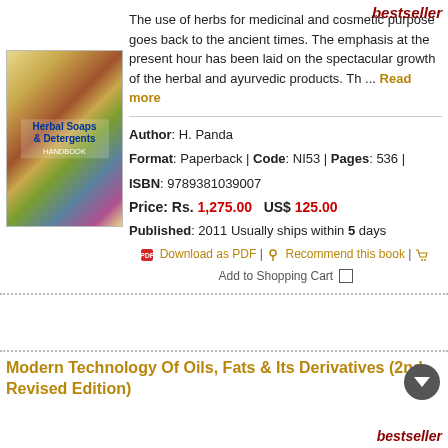bestseller
The use of herbs for medicinal and cosmetic purpose goes back to the ancient times. The emphasis at the present hour has been laid on the spectacular growth of the herbal and ayurvedic products. Th ... Read more
[Figure (illustration): Book cover of Herbal Soaps & Detergents Handbook with diamond pattern of herb and plant images]
Author: H. Panda
Format: Paperback | Code: NI53 | Pages: 536 |
ISBN: 9789381039007
Price: Rs. 1,275.00   US$ 125.00
Published: 2011 Usually ships within 5 days
Download as PDF | Recommend this book | Add to Shopping Cart
Modern Technology Of Oils, Fats & Its Derivatives (2nd Revised Edition)
bestseller